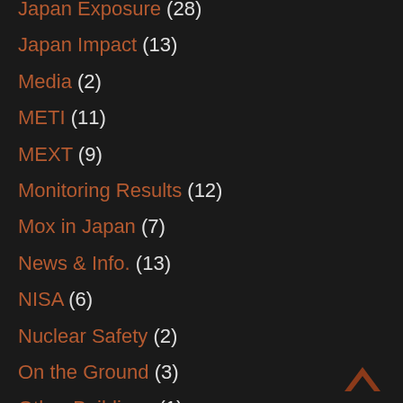Japan Exposure (28)
Japan Impact (13)
Media (2)
METI (11)
MEXT (9)
Monitoring Results (12)
Mox in Japan (7)
News & Info. (13)
NISA (6)
Nuclear Safety (2)
On the Ground (3)
Other Buildings (1)
Peer Review (38)
Plant Status (51)
Protect Yourself (18)
[Figure (illustration): A brown chevron/caret up arrow icon for back-to-top navigation, positioned bottom right]